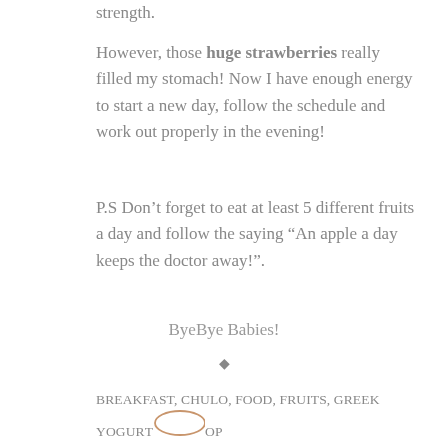strength.
However, those huge strawberries really filled my stomach! Now I have enough energy to start a new day, follow the schedule and work out properly in the evening!
P.S Don’t forget to eat at least 5 different fruits a day and follow the saying “An apple a day keeps the doctor away!”.
ByeBye Babies!
◆
BREAKFAST, CHULO, FOOD, FRUITS, GREEK YOGURT, HEALTHY, MORNING, PUG SESSION, PUGS, SPRING, STRAWBERRIES